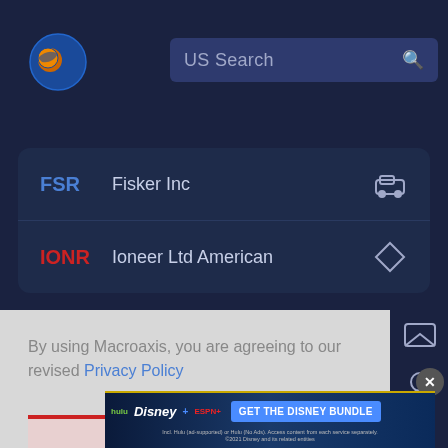[Figure (logo): Macroaxis globe logo - orange and blue circular icon]
US Search
| Ticker | Company | Icon |
| --- | --- | --- |
| FSR | Fisker Inc | truck icon |
| IONR | Ioneer Ltd American | diamond icon |
By using Macroaxis, you are agreeing to our revised Privacy Policy
OK
[Figure (screenshot): Disney Bundle advertisement banner with Hulu, Disney+, ESPN+ logos and 'GET THE DISNEY BUNDLE' call to action. Fine print: Incl. Hulu (ad-supported) or Hulu (No Ads). Access content from each service separately. ©2021 Disney and its related entities]